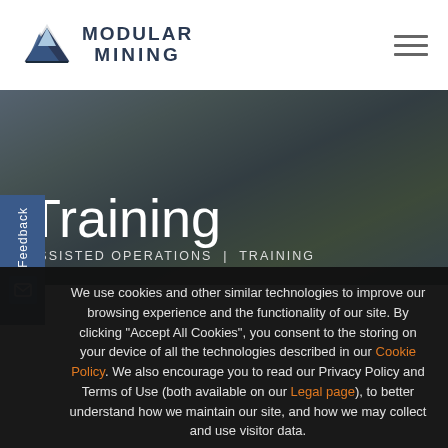Modular Mining
[Figure (logo): Modular Mining logo with mountain icon and text MODULAR MINING]
[Figure (photo): Hero banner photo showing training environment with computers, dark overlay, title Training and breadcrumb ASSISTED OPERATIONS | TRAINING]
Training
ASSISTED OPERATIONS | TRAINING
We use cookies and other similar technologies to improve our browsing experience and the functionality of our site. By clicking "Accept All Cookies", you consent to the storing on your device of all the technologies described in our Cookie Policy. We also encourage you to read our Privacy Policy and Terms of Use (both available on our Legal page), to better understand how we maintain our site, and how we may collect and use visitor data.
ACCEPT ALL COOKIES